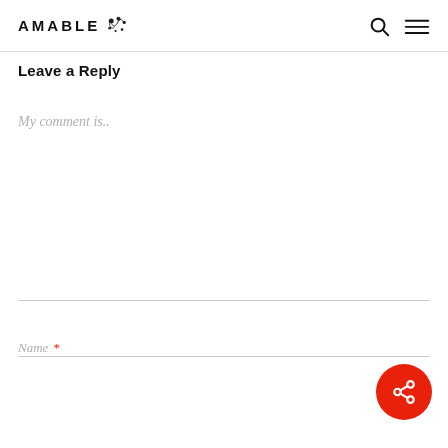AMABLE [logo icon] [search icon] [menu icon]
Leave a Reply
My comment is..
Name *
[Figure (other): Red circular share/social button with share icon in bottom right corner]